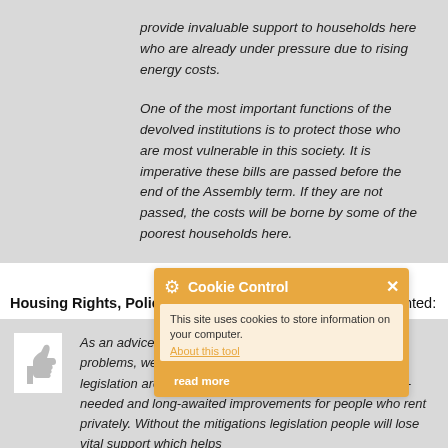provide invaluable support to households here who are already under pressure due to rising energy costs.
One of the most important functions of the devolved institutions is to protect those who are most vulnerable in this society. It is imperative these bills are passed before the end of the Assembly term. If they are not passed, the costs will be borne by some of the poorest households here.
Housing Rights, Policy Co-ordinator, Kerry Logan commented:
As an advice charity which helps people with housing problems, we know how important both these areas of legislation are. The Private Tenancies Bill will bring much-needed and long-awaited improvements for people who rent privately. Without the mitigations legislation people will lose vital support which helps
[Figure (screenshot): Cookie Control popup overlay with gear icon, title 'Cookie Control', close X button, body text 'This site uses cookies to store information on your computer.', an 'About this tool' link, and a 'read more' button. Orange background.]